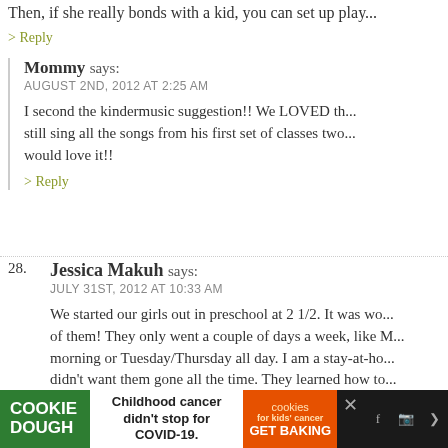Then, if she really bonds with a kid, you can set up play...
> Reply
Mommy says: AUGUST 2ND, 2012 AT 2:25 AM
I second the kindermusic suggestion!! We LOVED th... still sing all the songs from his first set of classes two... would love it!!
> Reply
28. Jessica Makuh says: JULY 31ST, 2012 AT 10:33 AM
We started our girls out in preschool at 2 1/2. It was wo... of them! They only went a couple of days a week, like M... morning or Tuesday/Thursday all day. I am a stay-at-ho... didn't want them gone all the time. They learned how to... others and got a headstart on learning the alphabet an... recommend it. Our oldest daughter is 5 now and startin...
[Figure (infographic): Cookie Dough advertisement banner: Childhood cancer didn't stop for COVID-19. GET BAKING.]